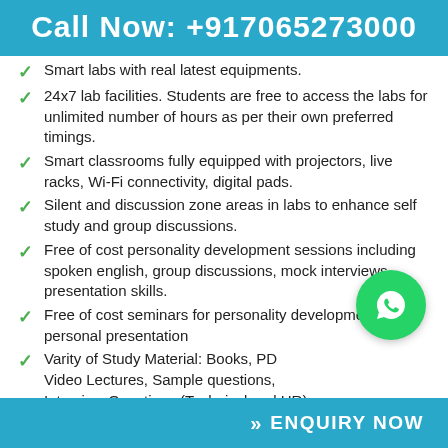Call Now: +917065273000
Smart labs with real latest equipments.
24x7 lab facilities. Students are free to access the labs for unlimited number of hours as per their own preferred timings.
Smart classrooms fully equipped with projectors, live racks, Wi-Fi connectivity, digital pads.
Silent and discussion zone areas in labs to enhance self study and group discussions.
Free of cost personality development sessions including spoken english, group discussions, mock interviews, presentation skills.
Free of cost seminars for personality development & personal presentation
Varity of Study Material: Books, PDFs, Video Lectures, Sample questions, Interview Questions (Technical and HR), and Projects.
Hostel facilities avai...
ENQUIRY NOW